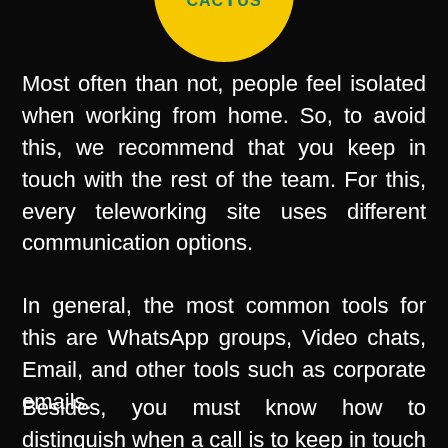[Figure (logo): BeCactus logo — yellow circle with teal/green text reading BEG CAC T US, partially cropped at top of page]
Most often than not, people feel isolated when working from home. So, to avoid this, we recommend that you keep in touch with the rest of the team. For this, every teleworking site uses different communication options.
In general, the most common tools for this are WhatsApp groups, Video chats, Email, and other tools such as corporate emails.
Besides, you must know how to distinguish when a call is to keep in touch or to deal with an issue